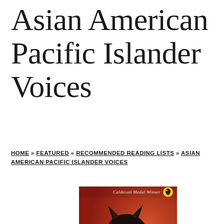Asian American Pacific Islander Voices
HOME » FEATURED » RECOMMENDED READING LISTS » ASIAN AMERICAN PACIFIC ISLANDER VOICES
[Figure (photo): Book cover showing a dark wolf or dog against a red/orange background, with text 'Caldecott Medal Winner' at the top and a small Puffin Books logo in the upper right corner.]